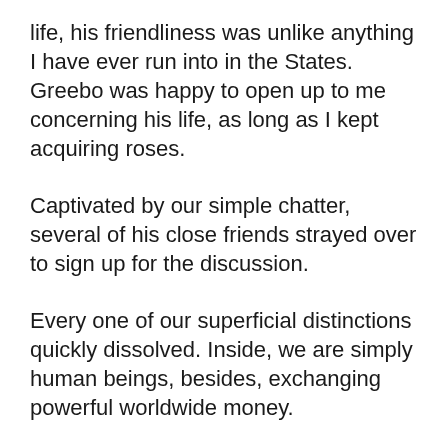life, his friendliness was unlike anything I have ever run into in the States. Greebo was happy to open up to me concerning his life, as long as I kept acquiring roses.
Captivated by our simple chatter, several of his close friends strayed over to sign up for the discussion.
Every one of our superficial distinctions quickly dissolved. Inside, we are simply human beings, besides, exchanging powerful worldwide money.
As I left town, I cast one last glance back at Greebo.
Among his good friends playfully tossed him